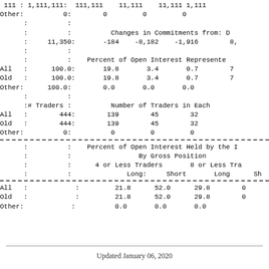|  | 1,111,111: | 111,111 | 11,111 | 11,111 | 1,111 |
| Other: | 0: | 0 | 0 | 0 |  |
|  | : |  |  |  |  |
|  | : | Changes in Commitments from: D |  |  |  |
|  | 11,350: | -184 | -8,182 | -1,916 | 8, |
|  | : |  |  |  |  |
|  | : | Percent of Open Interest Represente |  |  |  |
| All : | 100.0: | 19.8 | 3.4 | 0.7 | 7 |
| Old : | 100.0: | 19.8 | 3.4 | 0.7 | 7 |
| Other: | 100.0: | 0.0 | 0.0 | 0.0 |  |
|  | : |  |  |  |  |
|  | :# Traders : | Number of Traders in Each |  |  |  |
| All : | 444: | 139 | 45 | 32 |  |
| Old : | 444: | 139 | 45 | 32 |  |
| Other: | 0: | 0 | 0 | 0 |  |
| --- dashed --- |  |  |  |  |  |
|  | : | Percent of Open Interest Held by the I |  |  |  |
|  | : | By Gross Position |  |  |  |
|  | : | 4 or Less Traders |  | 8 or Less Tra |  |
|  | : | Long: | Short | Long | Sh |
| --- dashed --- |  |  |  |  |  |
| All : |  | 21.8 | 52.0 | 29.8 | 0 |
| Old : |  | 21.8 | 52.0 | 29.8 | 0 |
| Other: |  | 0.0 | 0.0 | 0.0 |  |
Updated January 06, 2020